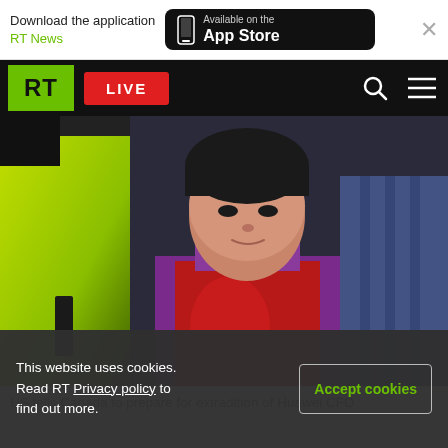Download the application RT News — Available on the App Store
[Figure (screenshot): RT news website navigation bar with green RT logo, red LIVE button, search icon, and hamburger menu on black background]
[Figure (photo): Photo of Huawei CFO Meng Wanzhou surrounded by people, wearing purple jacket and red vest, with a person in yellow/green jacket visible on the left]
US tells Canada to prepare for extradition of Huawei CFO
This website uses cookies. Read RT Privacy policy to find out more.
Accept cookies